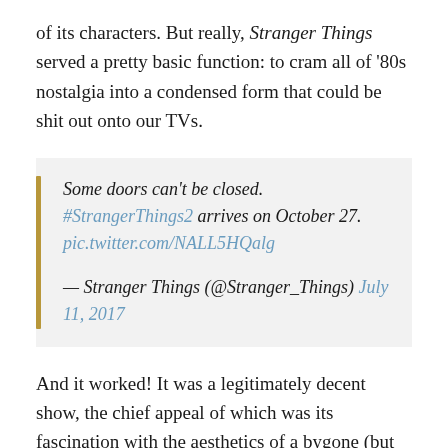of its characters. But really, Stranger Things served a pretty basic function: to cram all of '80s nostalgia into a condensed form that could be shit out onto our TVs.
Some doors can't be closed. #StrangerThings2 arrives on October 27. pic.twitter.com/NALL5HQalg

— Stranger Things (@Stranger_Things) July 11, 2017
And it worked! It was a legitimately decent show, the chief appeal of which was its fascination with the aesthetics of a bygone (but widely adored) era.